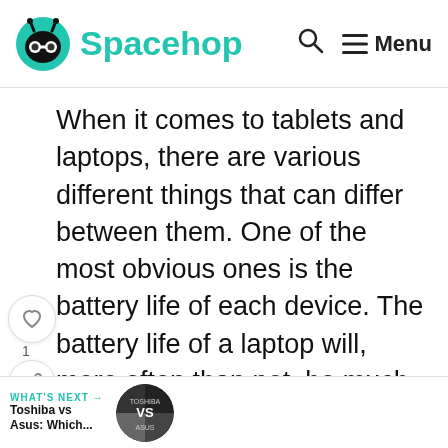Spacehop
When it comes to tablets and laptops, there are various different things that can differ between them. One of the most obvious ones is the battery life of each device. The battery life of a laptop will, more often than not, be much better than a tablet.
Though you can get models of tablet that have a good battery life, many will last a limited amount of time before you need to recharge them. This is especially true if you're opting for a cheap one. In comparison, a high end tablet like the iPad Pro or Samsung Galaxy S7 may be able to match a laptop when it comes
WHAT'S NEXT → Toshiba vs Asus: Which...